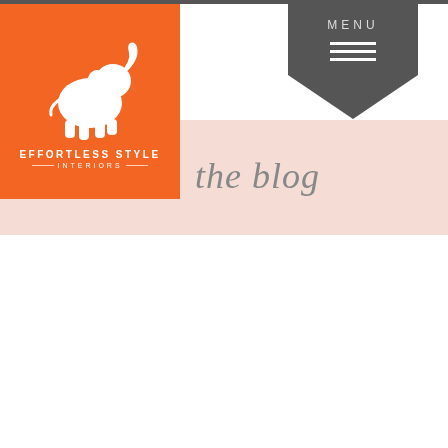[Figure (logo): Effortless Style Interiors logo — white elephant silhouette on orange square background with text 'EFFORTLESS STYLE' and 'INTERIORS']
the blog
[Figure (infographic): Dark gray banner with 'MENU' text and three horizontal white lines (hamburger icon), with downward-pointing chevron/arrow shape at bottom]